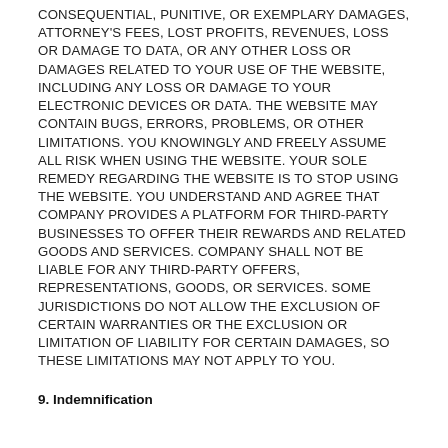CONSEQUENTIAL, PUNITIVE, OR EXEMPLARY DAMAGES, ATTORNEY'S FEES, LOST PROFITS, REVENUES, LOSS OR DAMAGE TO DATA, OR ANY OTHER LOSS OR DAMAGES RELATED TO YOUR USE OF THE WEBSITE, INCLUDING ANY LOSS OR DAMAGE TO YOUR ELECTRONIC DEVICES OR DATA. THE WEBSITE MAY CONTAIN BUGS, ERRORS, PROBLEMS, OR OTHER LIMITATIONS. YOU KNOWINGLY AND FREELY ASSUME ALL RISK WHEN USING THE WEBSITE. YOUR SOLE REMEDY REGARDING THE WEBSITE IS TO STOP USING THE WEBSITE. YOU UNDERSTAND AND AGREE THAT COMPANY PROVIDES A PLATFORM FOR THIRD-PARTY BUSINESSES TO OFFER THEIR REWARDS AND RELATED GOODS AND SERVICES. COMPANY SHALL NOT BE LIABLE FOR ANY THIRD-PARTY OFFERS, REPRESENTATIONS, GOODS, OR SERVICES. SOME JURISDICTIONS DO NOT ALLOW THE EXCLUSION OF CERTAIN WARRANTIES OR THE EXCLUSION OR LIMITATION OF LIABILITY FOR CERTAIN DAMAGES, SO THESE LIMITATIONS MAY NOT APPLY TO YOU.
9. Indemnification